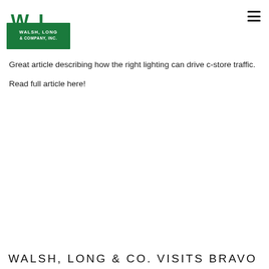[Figure (logo): Walsh, Long & Company, Inc. logo with green WL lettering and green rectangular background with company name]
Great article describing how the right lighting can drive c-store traffic.
Read full article here!
WALSH, LONG & CO. VISITS BRAVO